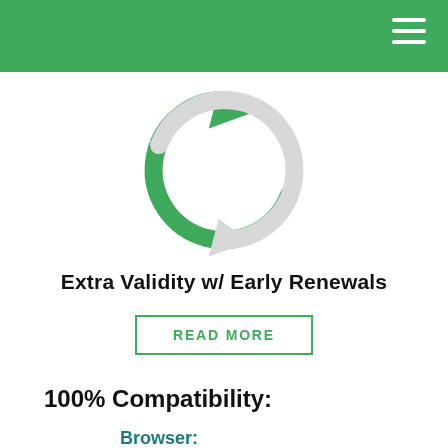[Figure (illustration): Circular refresh/renewal icon: top-left portion is green, bottom-right portion is light gray, with arrows indicating a circular rotation]
Extra Validity w/ Early Renewals
READ MORE
100% Compatibility:
Browser:
Mobile OS:
Client OS: